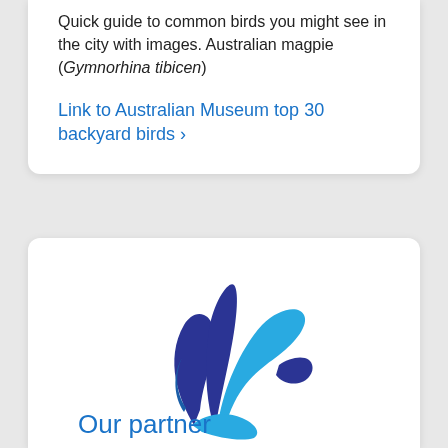Quick guide to common birds you might see in the city with images. Australian magpie (Gymnorhina tibicen)
Link to Australian Museum top 30 backyard birds ›
[Figure (logo): A stylized bird logo made of blue and light blue curved feather/wing shapes forming a flying bird silhouette]
Our partner